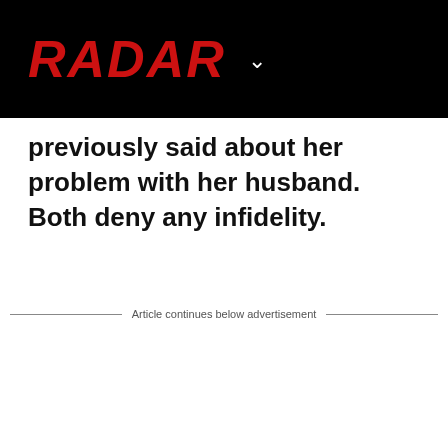RADAR
previously said about her problem with her husband. Both deny any infidelity.
Article continues below advertisement